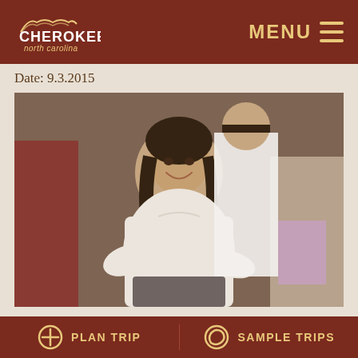CHEROKEE north carolina | MENU
Date: 9.3.2015
[Figure (photo): A young woman in a white colonial-era blouse and dark skirt smiles and dances at the Oconaluftee Indian Village cultural event, with other people in traditional/historical clothing visible in the background.]
The Oconaluftee Indian Village is a living history museum replicating a small Cherokee town in the
PLAN TRIP | SAMPLE TRIPS